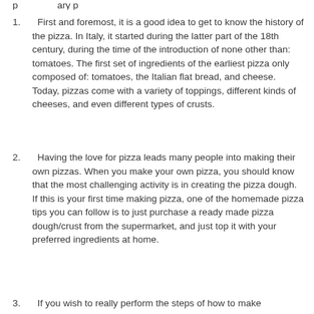p …ary p…
1.    First and foremost, it is a good idea to get to know the history of the pizza. In Italy, it started during the latter part of the 18th century, during the time of the introduction of none other than: tomatoes. The first set of ingredients of the earliest pizza only composed of: tomatoes, the Italian flat bread, and cheese. Today, pizzas come with a variety of toppings, different kinds of cheeses, and even different types of crusts.
2.    Having the love for pizza leads many people into making their own pizzas. When you make your own pizza, you should know that the most challenging activity is in creating the pizza dough. If this is your first time making pizza, one of the homemade pizza tips you can follow is to just purchase a ready made pizza dough/crust from the supermarket, and just top it with your preferred ingredients at home.
3.    If you wish to really perform the steps of how to make